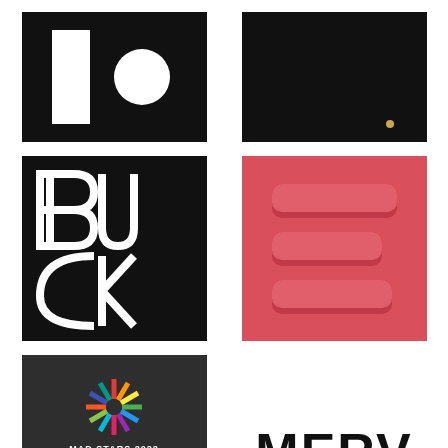[Figure (logo): Black square logo with white vertical rectangle on left and white circle on right - minimalist logo design]
[Figure (logo): Solid black rectangle logo, mostly black with a very small gold/yellow element near bottom right]
[Figure (logo): Black square with white geometric BUCK logotype made of B, U, C, K letters in art deco geometric style]
[Figure (logo): Red/coral square background with 3D extruded letter E shape in darker red, three horizontal bars with rounded ends]
[Figure (logo): Dark charcoal background with MAD STARS 2022 colorful star logo, text WELCOME AFTER in white, 3 YEARS in gold/yellow bold]
[Figure (logo): MERV wordmark in bold black letters on white background]